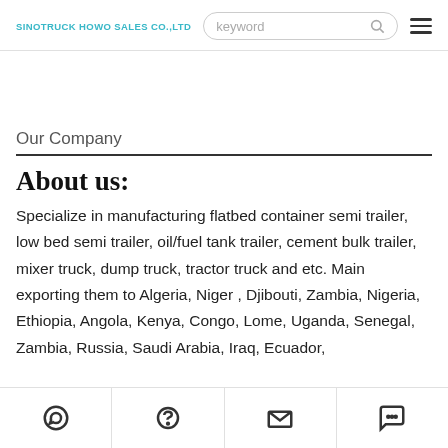SINOTRUCK HOWO SALES CO.,LTD
Our Company
About us:
Specialize in manufacturing flatbed container semi trailer, low bed semi trailer, oil/fuel tank trailer, cement bulk trailer, mixer truck, dump truck, tractor truck and etc. Main exporting them to Algeria, Niger , Djibouti, Zambia, Nigeria, Ethiopia, Angola, Kenya, Congo, Lome, Uganda, Senegal, Zambia, Russia, Saudi Arabia, Iraq, Ecuador,